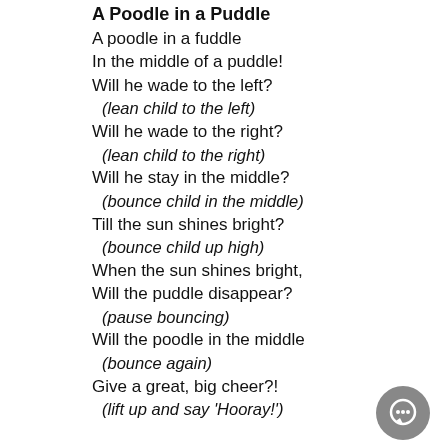A Poodle in a Puddle
A poodle in a fuddle
In the middle of a puddle!
Will he wade to the left?
(lean child to the left)
Will he wade to the right?
(lean child to the right)
Will he stay in the middle?
(bounce child in the middle)
Till the sun shines bright?
(bounce child up high)
When the sun shines bright,
Will the puddle disappear?
(pause bouncing)
Will the poodle in the middle
(bounce again)
Give a great, big cheer?!
(lift up and say 'Hooray!')